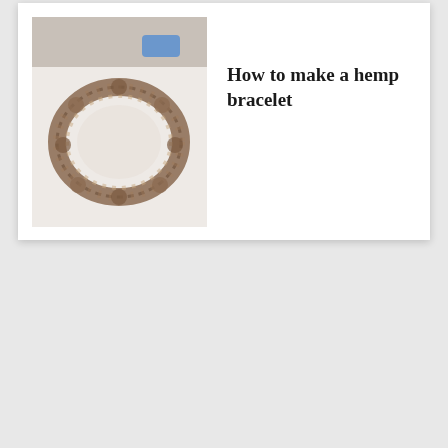[Figure (photo): Photo of a hemp bracelet on a white table surface, with a small blue object visible in the background]
How to make a hemp bracelet